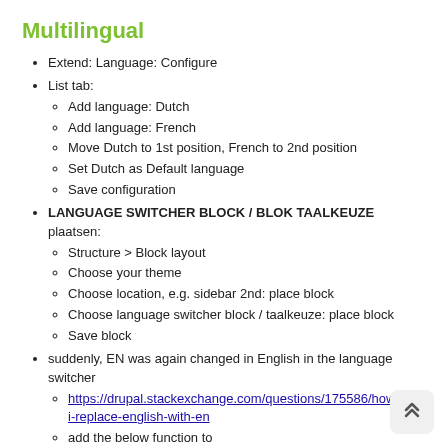Multilingual
Extend: Language: Configure
List tab:
Add language: Dutch
Add language: French
Move Dutch to 1st position, French to 2nd position
Set Dutch as Default language
Save configuration
LANGUAGE SWITCHER BLOCK / BLOK TAALKEUZE plaatsen:
Structure > Block layout
Choose your theme
Choose location, e.g. sidebar 2nd: place block
Choose language switcher block / taalkeuze: place block
Save block
suddenly, EN was again changed in English in the language switcher
https://drupal.stackexchange.com/questions/175586/how-can-i-replace-english-with-en
add the below function to /domains/muzitaal.be/public_html/drupal/themes/zircon/zir